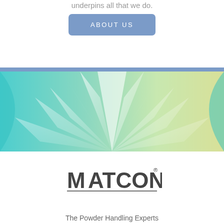underpins all that we do.
[Figure (other): Blue rounded rectangle button with text 'ABOUT US' in white letters]
[Figure (illustration): Abstract geometric background with teal, green, and yellow gradient rays/petals pattern with a thin blue bar at top]
[Figure (logo): MATCON logo in dark gray bold font with registered trademark symbol and underline]
The Powder Handling Experts